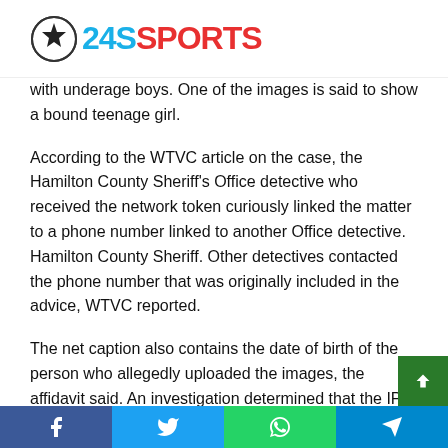24SSPORTS
with underage boys. One of the images is said to show a bound teenage girl.
According to the WTVC article on the case, the Hamilton County Sheriff's Office detective who received the network token curiously linked the matter to a phone number linked to another Office detective. Hamilton County Sheriff. Other detectives contacted the phone number that was originally included in the advice, WTVC reported.
The net caption also contains the date of birth of the person who allegedly uploaded the images, the affidavit said. An investigation determined that the IP address was registered an EPB Internet account for a detective with HCSO who
Facebook Twitter WhatsApp Telegram